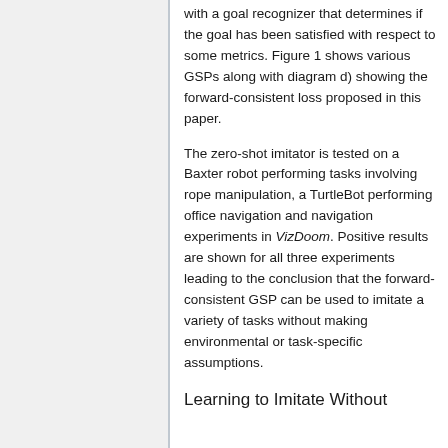with a goal recognizer that determines if the goal has been satisfied with respect to some metrics. Figure 1 shows various GSPs along with diagram d) showing the forward-consistent loss proposed in this paper.
The zero-shot imitator is tested on a Baxter robot performing tasks involving rope manipulation, a TurtleBot performing office navigation and navigation experiments in VizDoom. Positive results are shown for all three experiments leading to the conclusion that the forward-consistent GSP can be used to imitate a variety of tasks without making environmental or task-specific assumptions.
Learning to Imitate Without